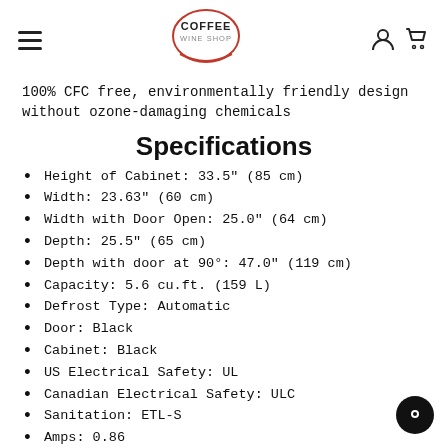Coffee Wine Shop
100% CFC free, environmentally friendly design without ozone-damaging chemicals
Specifications
Height of Cabinet: 33.5" (85 cm)
Width: 23.63" (60 cm)
Width with Door Open: 25.0" (64 cm)
Depth: 25.5" (65 cm)
Depth with door at 90°: 47.0" (119 cm)
Capacity: 5.6 cu.ft. (159 L)
Defrost Type: Automatic
Door: Black
Cabinet: Black
US Electrical Safety: UL
Canadian Electrical Safety: ULC
Sanitation: ETL-S
Amps: 0.86
Voltage/Frequency: 115 V AC/60 Hz
Weight: ...